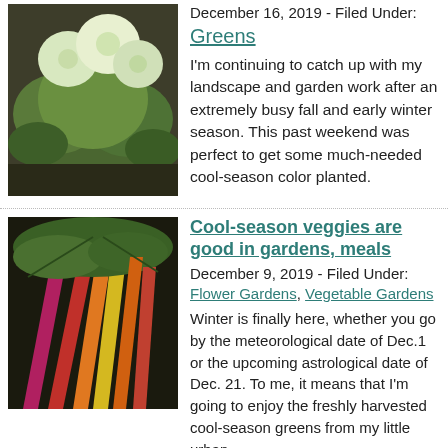[Figure (photo): Photo of ornamental kale or flowering greens in a garden]
December 16, 2019 - Filed Under:
Greens
I'm continuing to catch up with my landscape and garden work after an extremely busy fall and early winter season. This past weekend was perfect to get some much-needed cool-season color planted.
[Figure (photo): Photo of colorful rainbow chard or rhubarb with red, yellow, and orange stalks]
Cool-season veggies are good in gardens, meals
December 9, 2019 - Filed Under:
Flower Gardens, Vegetable Gardens
Winter is finally here, whether you go by the meteorological date of Dec.1 or the upcoming astrological date of Dec. 21. To me, it means that I'm going to enjoy the freshly harvested cool-season greens from my little urban